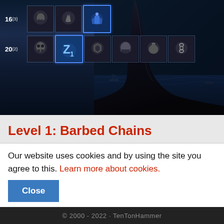[Figure (screenshot): Game UI screenshot showing a skill tree or talent grid with two rows. Row 1 shows level '16' with superscript '(3)' and several skill icons including wolf-themed and blue glowing icons. Row 2 shows level '20' with superscript '(2)' and more skill icons. The background shows a dark fantasy scene with a tall draped figure on the right side.]
Level 1: Barbed Chains
Barbed Chains reduces the armor of anyone caught by your chains by 10. In addition, it also increases its damage by 125%. For those wombo-combos of dragging players together, or against your Glacial Spike, it allows you to deal
Our website uses cookies and by using the site you agree to this. Learn more about cookies.
Close
© 2000 - 2022 · TenTonHammer